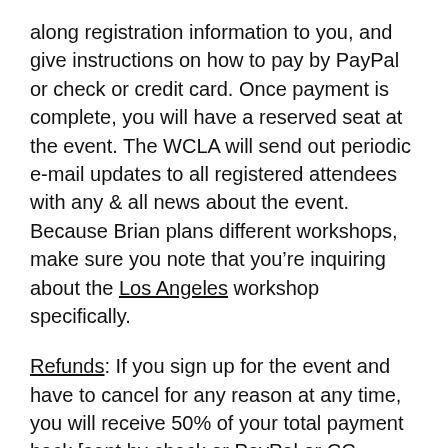along registration information to you, and give instructions on how to pay by PayPal or check or credit card. Once payment is complete, you will have a reserved seat at the event. The WCLA will send out periodic e-mail updates to all registered attendees with any & all news about the event. Because Brian plans different workshops, make sure you note that you're inquiring about the Los Angeles workshop specifically.
Refunds: If you sign up for the event and have to cancel for any reason at any time, you will receive 50% of your total payment back [sent by check or PayPal or CC refund]. The other 50% is nonrefundable and will not be returned, and helps the workshop ensure that only those truly interested in the limited spacing sign up for the